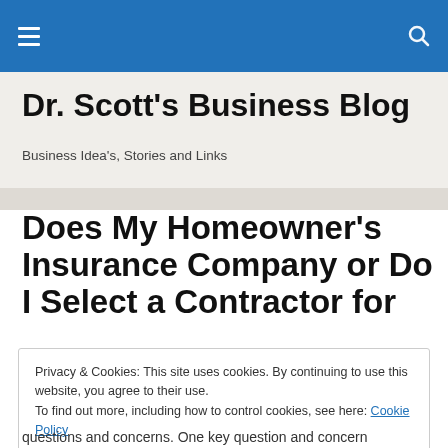Dr. Scott's Business Blog — navigation bar
Dr. Scott's Business Blog
Business Idea's, Stories and Links
Does My Homeowner's Insurance Company or Do I Select a Contractor for
Privacy & Cookies: This site uses cookies. By continuing to use this website, you agree to their use.
To find out more, including how to control cookies, see here: Cookie Policy
questions and concerns. One key question and concern